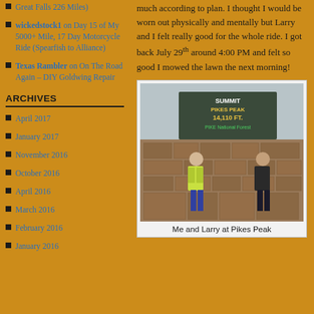Great Falls 226 Miles)
wickedstock1 on Day 15 of My 5000+ Mile, 17 Day Motorcycle Ride (Spearfish to Alliance)
Texas Rambler on On The Road Again – DIY Goldwing Repair
ARCHIVES
April 2017
January 2017
November 2016
October 2016
April 2016
March 2016
February 2016
January 2016
much according to plan. I thought I would be worn out physically and mentally but Larry and I felt really good for the whole ride. I got back July 29th around 4:00 PM and felt so good I mowed the lawn the next morning!
[Figure (photo): Two motorcyclists standing in front of the Summit Pikes Peak 14,110 FT sign on a stone wall at the Pike National Forest summit.]
Me and Larry at Pikes Peak